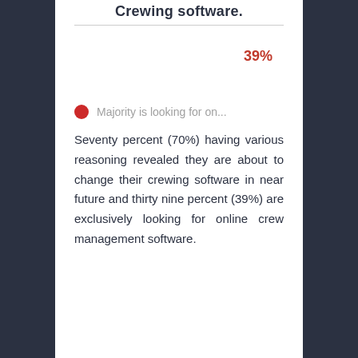Crewing software.
39%
Majority is looking for on...
Seventy percent (70%) having various reasoning revealed they are about to change their crewing software in near future and thirty nine percent (39%) are exclusively looking for online crew management software.